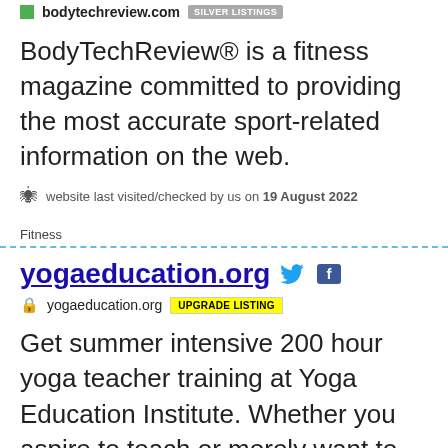bodytechreview.com SILVER LISTINGS
BodyTechReview® is a fitness magazine committed to providing the most accurate sport-related information on the web.
website last visited/checked by us on 19 August 2022
Fitness
yogaeducation.org
yogaeducation.org UPGRADE LISTING
Get summer intensive 200 hour yoga teacher training at Yoga Education Institute. Whether you aspire to teach or merely want to learn more about yoga, our training institute is here